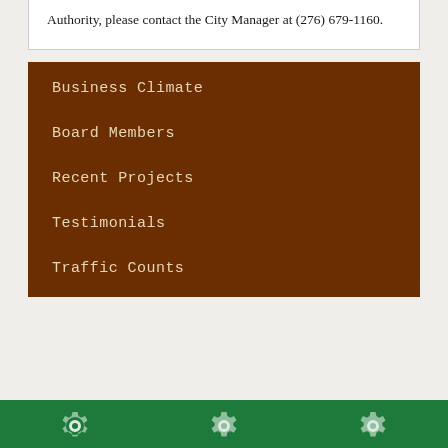Authority, please contact the City Manager at (276) 679-1160.
Business Climate
Board Members
Recent Projects
Testimonials
Traffic Counts
[Figure (illustration): Green footer bar with three white gear icons]